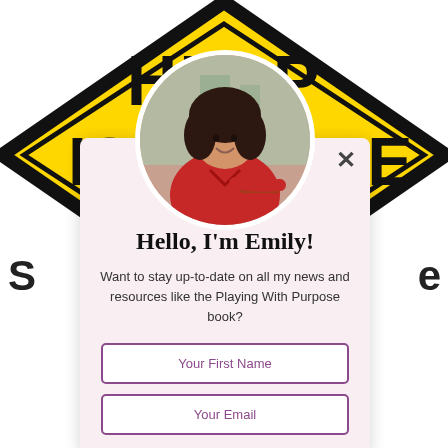[Figure (photo): Yellow diamond-shaped caution sign reading 'HELP IS ON THE WAY' partially obscured by a circular profile photo of a woman in a red shirt]
[Figure (photo): Circular profile photo of a smiling woman with curly dark hair wearing a red top, outdoors with a blurred city background]
Hello, I'm Emily!
Want to stay up-to-date on all my news and resources like the Playing With Purpose book?
Your First Name
Your Email